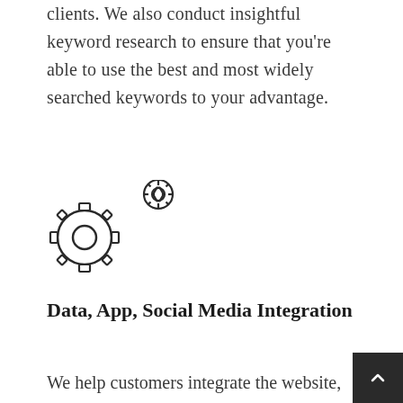clients. We also conduct insightful keyword research to ensure that you're able to use the best and most widely searched keywords to your advantage.
[Figure (illustration): Two interlocking gear icons (settings/integration symbol), rendered as outline drawings]
Data, App, Social Media Integration
We help customers integrate the website, lead generation forms, sales funnels with their CRM, social media platforms, email marketing platforms such as